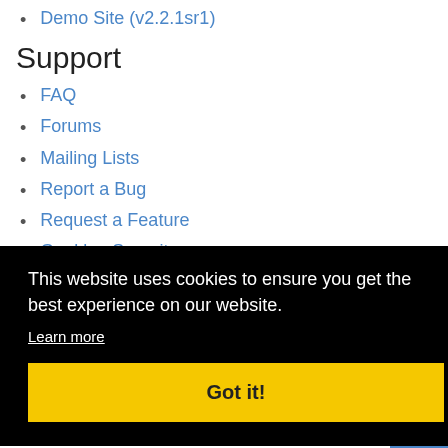Demo Site (v2.2.1sr1)
Support
FAQ
Forums
Mailing Lists
Report a Bug
Request a Feature
Geeklog Security
This website uses cookies to ensure you get the best experience on our website.
Learn more
Got it!
Home